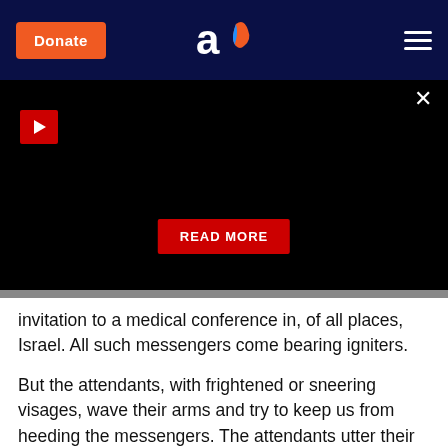[Figure (screenshot): Navigation bar with Donate button, Aish logo, and hamburger menu on dark blue background]
[Figure (screenshot): Black video player area with red play button, close X button, and red READ MORE button]
invitation to a medical conference in, of all places, Israel. All such messengers come bearing igniters.
But the attendants, with frightened or sneering visages, wave their arms and try to keep us from heeding the messengers. The attendants utter their shrill warnings: "You don’t have time to go to that class." "Don’t accept that Shabbat invitation or they’ll try to brainwash you." "You’re too old/established/comfortable to start changing now."